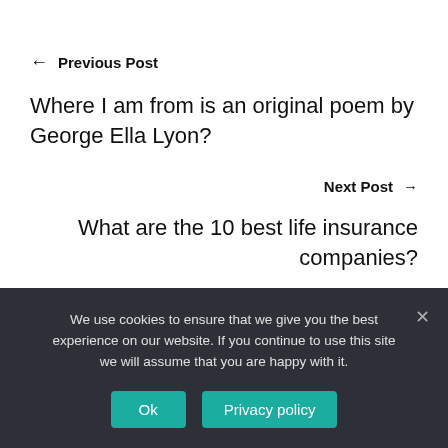← Previous Post
Where I am from is an original poem by George Ella Lyon?
Next Post →
What are the 10 best life insurance companies?
We use cookies to ensure that we give you the best experience on our website. If you continue to use this site we will assume that you are happy with it.